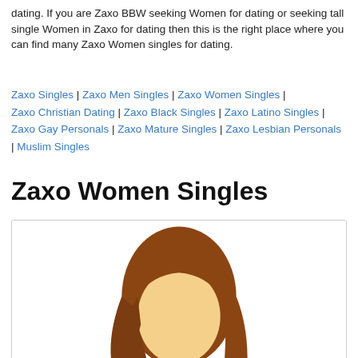dating. If you are Zaxo BBW seeking Women for dating or seeking tall single Women in Zaxo for dating then this is the right place where you can find many Zaxo Women singles for dating.
Zaxo Singles | Zaxo Men Singles | Zaxo Women Singles | Zaxo Christian Dating | Zaxo Black Singles | Zaxo Latino Singles | Zaxo Gay Personals | Zaxo Mature Singles | Zaxo Lesbian Personals | Muslim Singles
Zaxo Women Singles
[Figure (illustration): Generic female avatar illustration with brown hair and no facial features, wearing dark clothing, shown from shoulders up inside a white rounded-corner box.]